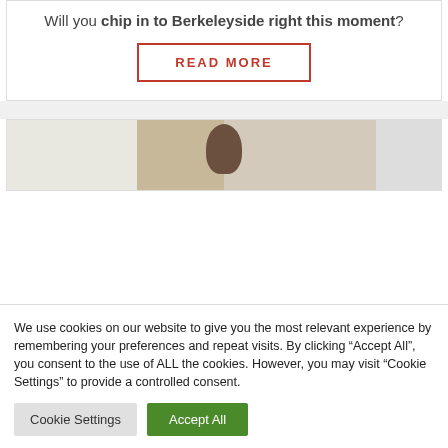Will you chip in to Berkeleyside right this moment?
READ MORE
[Figure (photo): Partial view of a person's head/face, blurred background]
We use cookies on our website to give you the most relevant experience by remembering your preferences and repeat visits. By clicking “Accept All”, you consent to the use of ALL the cookies. However, you may visit "Cookie Settings" to provide a controlled consent.
Cookie Settings
Accept All